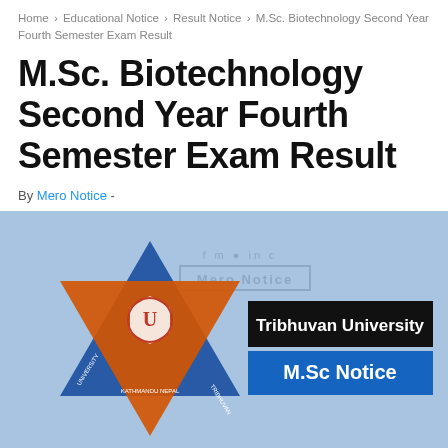Home › Educational Notice › Result Notice › M.Sc. Biotechnology Second Year Fourth Semester Exam Result
M.Sc. Biotechnology Second Year Fourth Semester Exam Result
By Mero Notice -
[Figure (illustration): Tribhuvan University logo (Star of David shape in orange and blue) alongside text badges reading 'Tribhuvan University' and 'M.Sc Notice' on a light blue background, with a semi-transparent Mero Notice watermark.]
Tribhuvan University M.Sc Notice